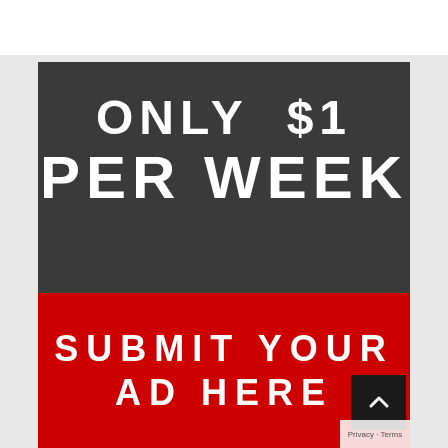[Figure (infographic): Advertisement banner on dark grey background with white bold text reading 'ONLY $1 PER WEEK' and a red button at the bottom reading 'SUBMIT YOUR AD HERE']